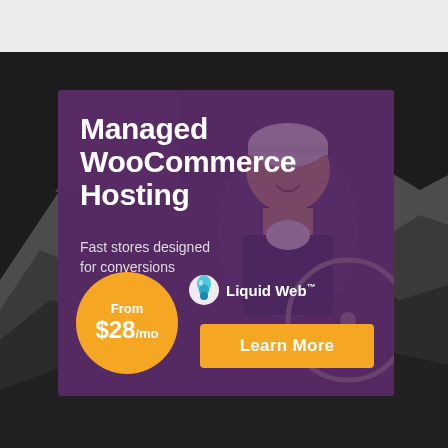[Figure (illustration): Advertisement banner for Liquid Web Managed WooCommerce Hosting. Shows a smiling young man with a beanie hat in what appears to be a bicycle shop, overlaid with a purple tint. Contains headline text, subtext, pricing badge, logo, and CTA button. Background is a dark mountain landscape.]